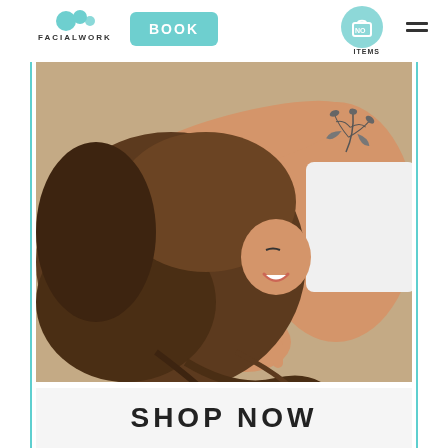[Figure (logo): Facialworks logo with teal circles and text FACIALWORKS]
[Figure (screenshot): BOOK button in teal/turquoise rounded rectangle]
[Figure (screenshot): Shopping cart circle icon in teal with NO ITEMS text below]
[Figure (screenshot): Hamburger menu icon (two horizontal lines)]
[Figure (photo): Woman with long brown curly hair lying down on a beige surface, smiling with arm over face, showing a floral tattoo on her arm, wearing a white top]
SHOP NOW